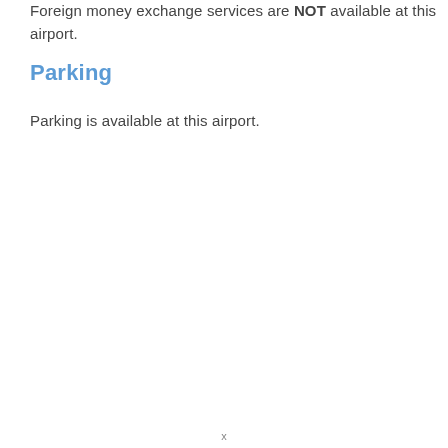Foreign money exchange services are NOT available at this airport.
Parking
Parking is available at this airport.
x